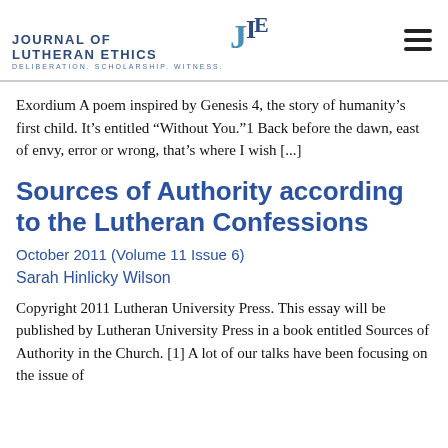Journal of Lutheran Ethics — Deliberation. Scholarship. Witness.
Exordium A poem inspired by Genesis 4, the story of humanity's first child. It's entitled “Without You.”1 Back before the dawn, east of envy, error or wrong, that’s where I wish [...]
Sources of Authority according to the Lutheran Confessions
October 2011 (Volume 11 Issue 6)
Sarah Hinlicky Wilson
Copyright 2011 Lutheran University Press. This essay will be published by Lutheran University Press in a book entitled Sources of Authority in the Church. [1] A lot of our talks have been focusing on the issue of